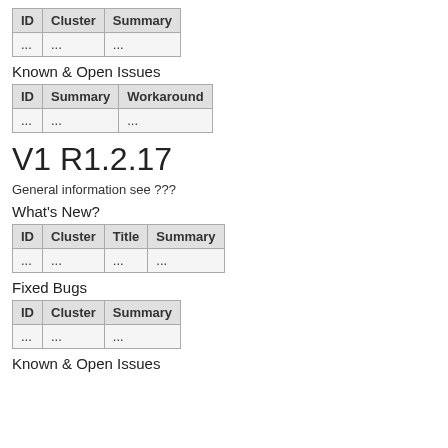| ID | Cluster | Summary |
| --- | --- | --- |
| ... | ... | ... |
Known & Open Issues
| ID | Summary | Workaround |
| --- | --- | --- |
| ... | ... | ... |
V1 R1.2.17
General information see ???
What's New?
| ID | Cluster | Title | Summary |
| --- | --- | --- | --- |
| ... | ... | ... | ... |
Fixed Bugs
| ID | Cluster | Summary |
| --- | --- | --- |
| ... | ... | ... |
Known & Open Issues